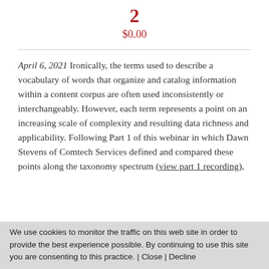2
$0.00
April 6, 2021 Ironically, the terms used to describe a vocabulary of words that organize and catalog information within a content corpus are often used inconsistently or interchangeably. However, each term represents a point on an increasing scale of complexity and resulting data richness and applicability. Following Part 1 of this webinar in which Dawn Stevens of Comtech Services defined and compared these points along the taxonomy spectrum (view part 1 recording)
We use cookies to monitor the traffic on this web site in order to provide the best experience possible. By continuing to use this site you are consenting to this practice. | Close | Decline